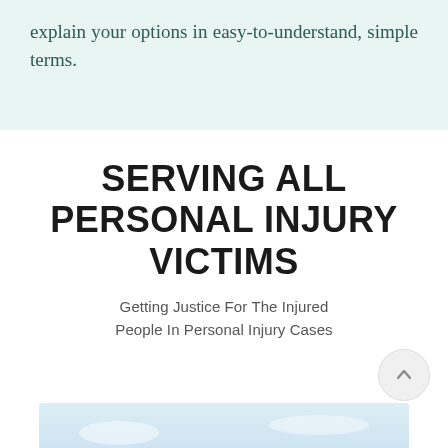explain your options in easy-to-understand, simple terms.
SERVING ALL PERSONAL INJURY VICTIMS
Getting Justice For The Injured People In Personal Injury Cases
[Figure (photo): A landscape photo showing a figure (person) in the lower center, with a sky and hills background, partially cropped at the bottom of the page.]